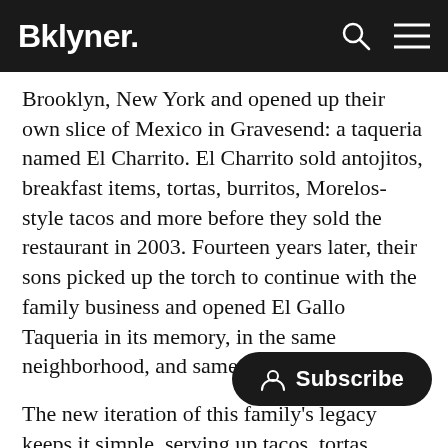Bklyner.
Brooklyn, New York and opened up their own slice of Mexico in Gravesend: a taqueria named El Charrito. El Charrito sold antojitos, breakfast items, tortas, burritos, Morelos-style tacos and more before they sold the restaurant in 2003. Fourteen years later, their sons picked up the torch to continue with the family business and opened El Gallo Taqueria in its memory, in the same neighborhood, and same building in 2017.
The new iteration of this family's legacy keeps it simple, serving up tacos, tortas, cemitas and enchiladas to their neighborhood, with a variety of fillings to choose from crossing ove[r]... Fillings like carnitas, chorizo, leng[ua], suadero, grilled chicken, and shrimp have remained